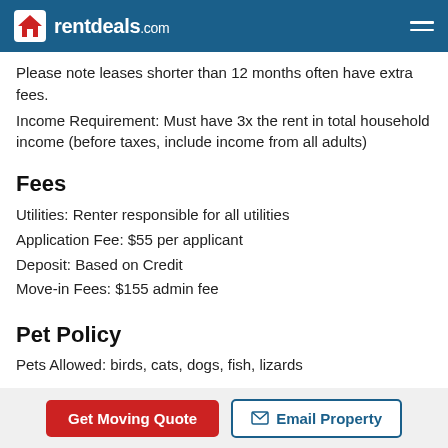rentdeals.com
Please note leases shorter than 12 months often have extra fees.
Income Requirement: Must have 3x the rent in total household income (before taxes, include income from all adults)
Fees
Utilities: Renter responsible for all utilities
Application Fee: $55 per applicant
Deposit: Based on Credit
Move-in Fees: $155 admin fee
Pet Policy
Pets Allowed: birds, cats, dogs, fish, lizards